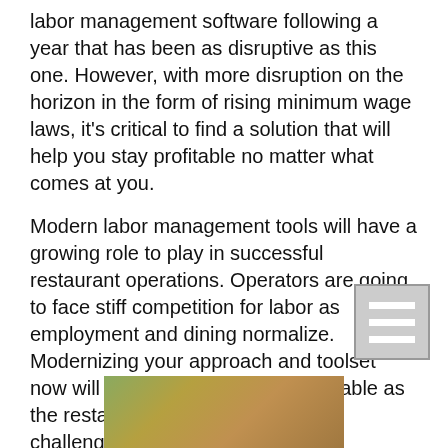labor management software following a year that has been as disruptive as this one. However, with more disruption on the horizon in the form of rising minimum wage laws, it's critical to find a solution that will help you stay profitable no matter what comes at you.
Modern labor management tools will have a growing role to play in successful restaurant operations. Operators are going to face stiff competition for labor as employment and dining normalize. Modernizing your approach and toolset now will keep you nimble and profitable as the restaurant industry faces new challenges.
[Figure (other): Social sharing buttons: Facebook (f), LinkedIn (in), Twitter (bird icon)]
[Figure (other): Hamburger menu icon (three horizontal lines) in grey box, bottom right]
[Figure (photo): Partial photo strip at bottom center, showing a person outdoors]